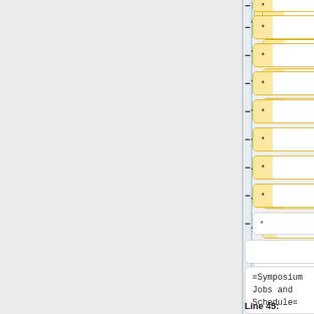[Figure (screenshot): Wiki diff editor interface showing two columns of form fields. Left column has 8 yellow-tagged input rows with minus buttons and one highlighted blue-bordered field in the right column with plus button. Both columns show code blocks with '=Symposium Jobs and Schedule=' and line labels 'Line 45:' and 'Line 43:' at the bottom.]